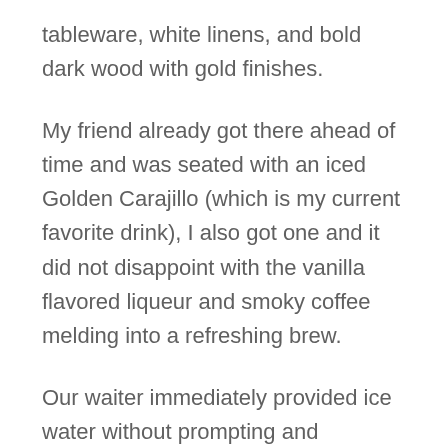tableware, white linens, and bold dark wood with gold finishes.
My friend already got there ahead of time and was seated with an iced Golden Carajillo (which is my current favorite drink), I also got one and it did not disappoint with the vanilla flavored liqueur and smoky coffee melding into a refreshing brew.
Our waiter immediately provided ice water without prompting and continuously filled our glasses throughout the meal. We sure did need the refills because the place was boiling!
It was towards the middle of our soup that we just